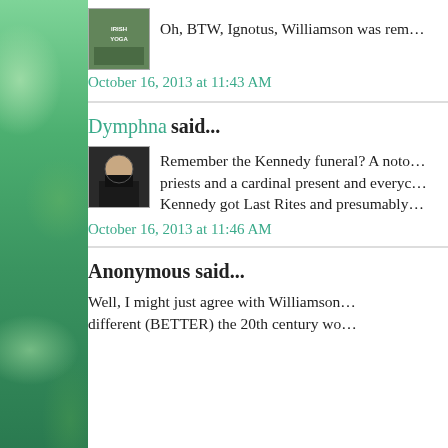[Figure (photo): Avatar image with Irish Yoga text/logo, green and nature themed]
Oh, BTW, Ignotus, Williamson was rem...
October 16, 2013 at 11:43 AM
Dymphna said...
[Figure (photo): Avatar image of a saint or nun in dark robes]
Remember the Kennedy funeral? A noto... priests and a cardinal present and everyc... Kennedy got Last Rites and presumably...
October 16, 2013 at 11:46 AM
Anonymous said...
Well, I might just agree with Williamson... different (BETTER) the 20th century wo...